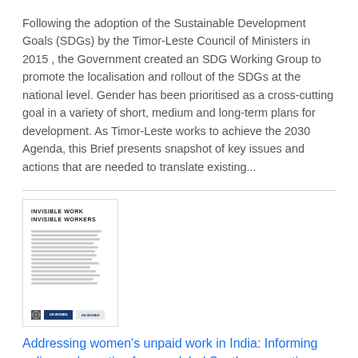Following the adoption of the Sustainable Development Goals (SDGs) by the Timor-Leste Council of Ministers in 2015 , the Government created an SDG Working Group to promote the localisation and rollout of the SDGs at the national level. Gender has been prioritised as a cross-cutting goal in a variety of short, medium and long-term plans for development. As Timor-Leste works to achieve the 2030 Agenda, this Brief presents snapshot of key issues and actions that are needed to translate existing...
[Figure (other): Thumbnail of a document cover titled 'INVISIBLE WORK INVISIBLE WORKERS' with body text lines and logos at the bottom including UN Women branding.]
Addressing women's unpaid work in India: Informing policy and practice from a global South perspective
Date: Tuesday, 24 July 2018
Since 2014, UN Women has played a significant role in convening diverse stakeholders to respond to and localize the emerging and new global paradigms on women's unpaid work, with a special focus on Goal 5 of the Sustainable Development Goals (SDGs). A